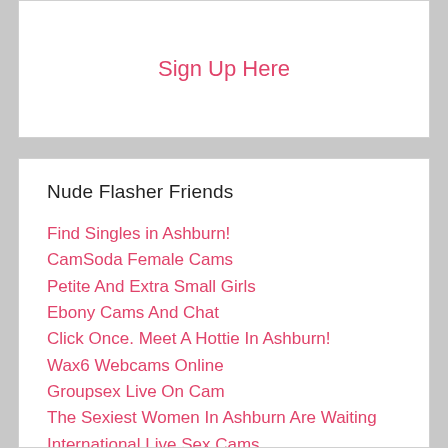Sign Up Here
Nude Flasher Friends
Find Singles in Ashburn!
CamSoda Female Cams
Petite And Extra Small Girls
Ebony Cams And Chat
Click Once. Meet A Hottie In Ashburn!
Wax6 Webcams Online
Groupsex Live On Cam
The Sexiest Women In Ashburn Are Waiting
International Live Sex Cams
Male Webcam Models Access
Chaturbate Without Advertising